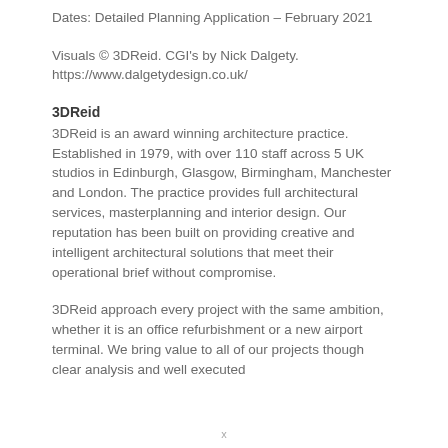Dates: Detailed Planning Application – February 2021
Visuals © 3DReid. CGI's by Nick Dalgety. https://www.dalgetydesign.co.uk/
3DReid
3DReid is an award winning architecture practice. Established in 1979, with over 110 staff across 5 UK studios in Edinburgh, Glasgow, Birmingham, Manchester and London. The practice provides full architectural services, masterplanning and interior design. Our reputation has been built on providing creative and intelligent architectural solutions that meet their operational brief without compromise.
3DReid approach every project with the same ambition, whether it is an office refurbishment or a new airport terminal. We bring value to all of our projects though clear analysis and well executed
x